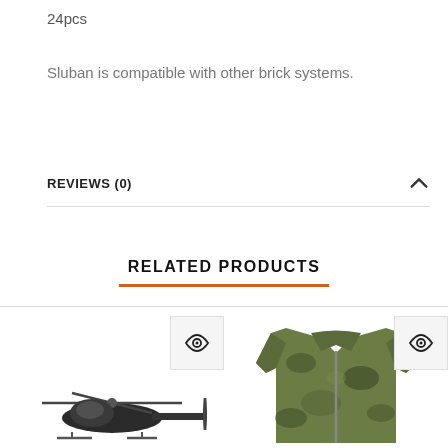24pcs
Sluban is compatible with other brick systems.
REVIEWS (0)
RELATED PRODUCTS
[Figure (photo): Helicopter model toy product photo, viewed from above/side, dark colored]
[Figure (photo): Camouflage jacket/hoodie product photo in green multicam pattern]